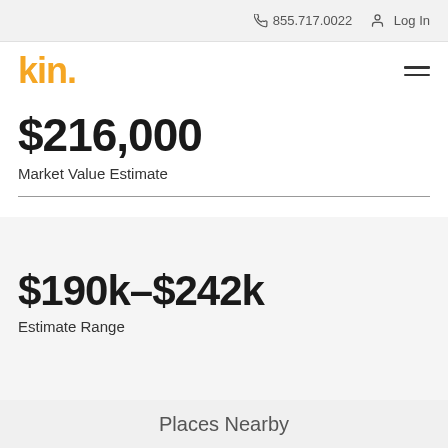855.717.0022   Log In
[Figure (logo): Kin insurance logo in yellow/orange with hamburger menu icon]
$216,000
Market Value Estimate
$190k–$242k
Estimate Range
Places Nearby